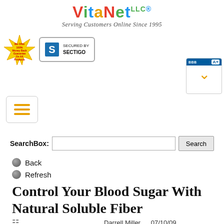[Figure (logo): VitaNet LLC logo with colored letters and tagline 'Serving Customers Online Since 1995']
[Figure (logo): Money Back Guarantee badge (yellow starburst)]
[Figure (logo): Secured by Sectigo SSL badge]
[Figure (logo): BBB Accredited Business A+ rating widget with gold chevron]
[Figure (other): Hamburger menu icon (three gold horizontal lines in rounded box)]
SearchBox:
Back
Refresh
Control Your Blood Sugar With Natural Soluble Fiber
Darrell Miller   07/10/09